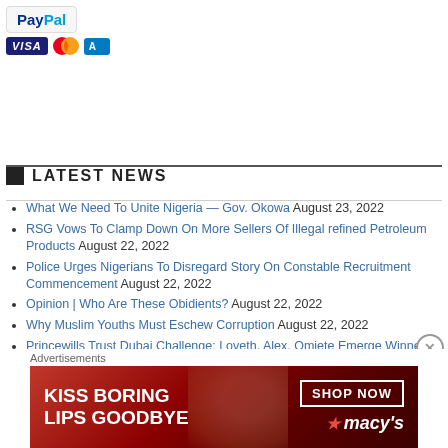[Figure (logo): PayPal logo with Visa, Mastercard, and Amex payment icons]
LATEST NEWS
What We Need To Unite Nigeria — Gov. Okowa August 23, 2022
RSG Vows To Clamp Down On More Sellers Of Illegal refined Petroleum Products August 22, 2022
Police Urges Nigerians To Disregard Story On Constable Recruitment Commencement August 22, 2022
Opinion | Who Are These Obidients? August 22, 2022
Why Muslim Youths Must Eschew Corruption August 22, 2022
Princewills Trust Dubai Challenge: Loveth, Alex, Omiete Emerge Winners August 22, 2022
Omo-Agege Describes How Olu of Warri Is A Source Of Inspiration To Many August 22, 2022
What We Have Done To Tackle Malaria In Nigeria – Buhari August 22, 2022
VP Osinbajo Inaugurates Electricity Liability Board In FG's Bid To Resolve Tariff Shortfalls August 21, 2022
[Figure (advertisement): Macy's advertisement: KISS BORING LIPS GOODBYE with SHOP NOW button]